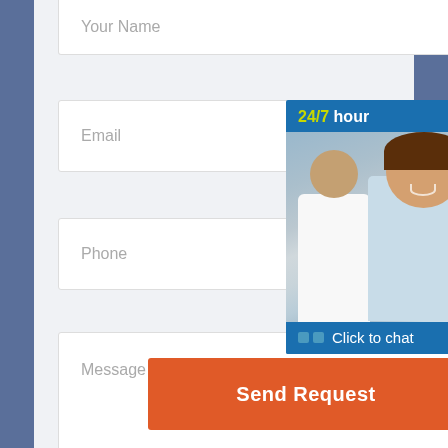[Figure (screenshot): Contact form with fields: Your Name, Email, Phone, Message. Overlapping 24/7 hour support widget with customer service photo, headset icon, phone icon, Skype icon, and 'Click to chat' button. Orange 'Send Request' button at the bottom.]